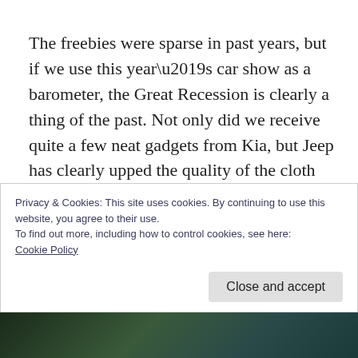The freebies were sparse in past years, but if we use this year’s car show as a barometer, the Great Recession is clearly a thing of the past. Not only did we receive quite a few neat gadgets from Kia, but Jeep has clearly upped the quality of the cloth shopping bags they pass out to obstacle course riders. Admittedly, Jeep’s quality upgrade may have nothing to do with the ending of the recession and may instead be due to the number of nauseous participants who needed a thicker
Privacy & Cookies: This site uses cookies. By continuing to use this website, you agree to their use.
To find out more, including how to control cookies, see here: Cookie Policy
[Figure (photo): Dark outdoor nighttime photo strip at the bottom of the page]